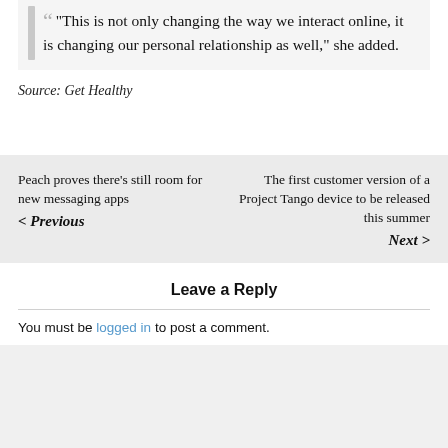“This is not only changing the way we interact online, it is changing our personal relationship as well,” she added.
Source: Get Healthy
Peach proves there’s still room for new messaging apps
< Previous
The first customer version of a Project Tango device to be released this summer
Next >
Leave a Reply
You must be logged in to post a comment.